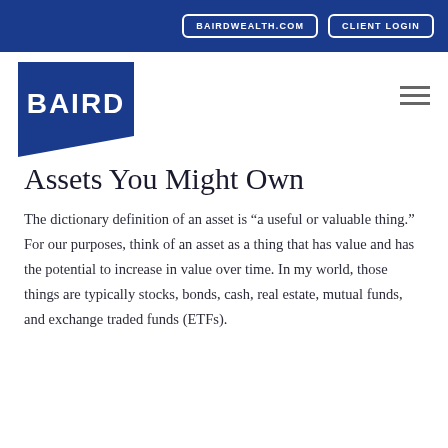BAIRDWEALTH.COM   CLIENT LOGIN
[Figure (logo): Baird logo — white text 'BAIRD' on dark blue parallelogram/chevron shape]
Assets You Might Own
The dictionary definition of an asset is “a useful or valuable thing.” For our purposes, think of an asset as a thing that has value and has the potential to increase in value over time. In my world, those things are typically stocks, bonds, cash, real estate, mutual funds, and exchange traded funds (ETFs).